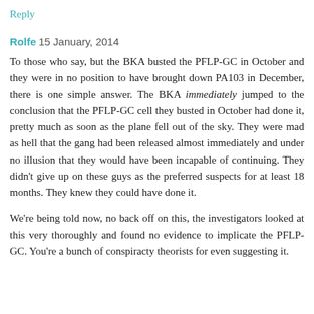Reply
Rolfe 15 January, 2014
To those who say, but the BKA busted the PFLP-GC in October and they were in no position to have brought down PA103 in December, there is one simple answer. The BKA immediately jumped to the conclusion that the PFLP-GC cell they busted in October had done it, pretty much as soon as the plane fell out of the sky. They were mad as hell that the gang had been released almost immediately and under no illusion that they would have been incapable of continuing. They didn't give up on these guys as the preferred suspects for at least 18 months. They knew they could have done it.
We're being told now, no back off on this, the investigators looked at this very thoroughly and found no evidence to implicate the PFLP-GC. You're a bunch of conspiracty theorists for even suggesting it.